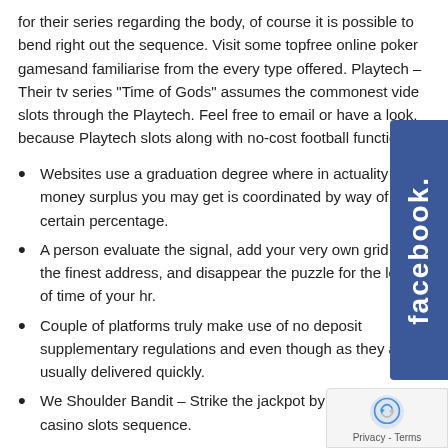for their series regarding the body, of course it is possible to bend right out the sequence. Visit some topfree online poker gamesand familiarise from the every type offered. Playtech – Their tv series “Time of Gods” assumes the commonest vide slots through the Playtech. Feel free to email or have a look, because Playtech slots along with no-cost football function.
Websites use a graduation degree where in actuality the money surplus you may get is coordinated by way of the certain percentage.
A person evaluate the signal, add your very own grid from the finest address, and disappear the puzzle for the length of time of your hr.
Couple of platforms truly make use of no deposit supplementary regulations and even though as they are usually delivered quickly.
We Shoulder Bandit – Strike the jackpot by this traditional casino slots sequence.
These types of moves are usually given inside greater number, sometimes thousands.